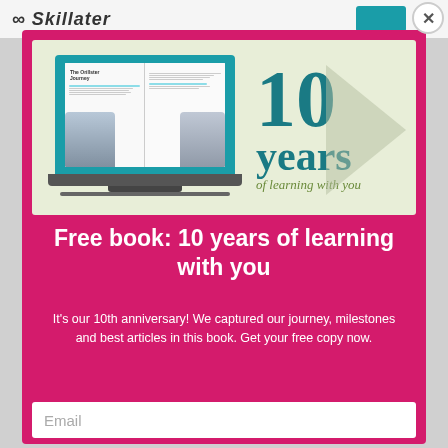[Figure (screenshot): Screenshot of a Skillate/Skillatex website with a modal popup promotion for a free book celebrating 10 years of learning. The modal shows a laptop displaying an open book with two people, and text '10 years of learning with you'. Below is a title and description, and an email input field.]
Free book: 10 years of learning with you
It's our 10th anniversary! We captured our journey, milestones and best articles in this book. Get your free copy now.